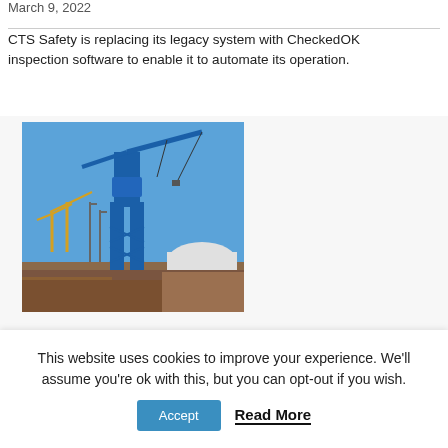March 9, 2022
CTS Safety is replacing its legacy system with CheckedOK inspection software to enable it to automate its operation.
[Figure (photo): Industrial port scene with large blue gantry crane dominating the center, smaller cranes visible in the background, clear blue sky, industrial buildings and structures on the waterfront.]
This website uses cookies to improve your experience. We'll assume you're ok with this, but you can opt-out if you wish.